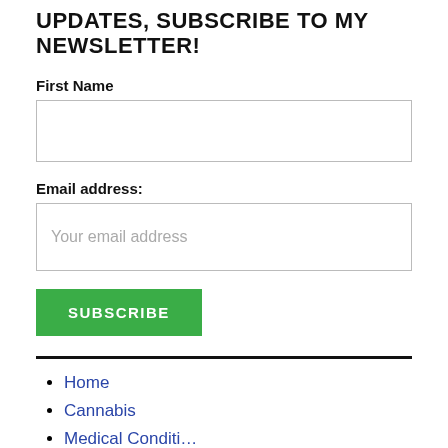UPDATES, SUBSCRIBE TO MY NEWSLETTER!
First Name
Email address:
Your email address
SUBSCRIBE
Home
Cannabis
Medical Conditi…